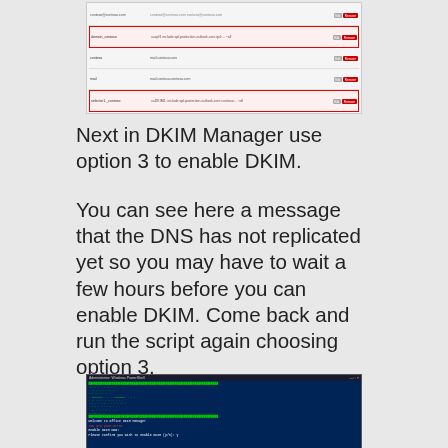[Figure (screenshot): Web interface showing DKIM Manager list with rows, some highlighted in red borders, and red 'Remove' buttons on the right]
Next in DKIM Manager use option 3 to enable DKIM.
You can see here a message that the DNS has not replicated yet so you may have to wait a few hours before you can enable DKIM. Come back and run the script again choosing option 3.
[Figure (screenshot): Windows PowerShell window showing ASCII art figures in green, DKIM Manager script with welcome message, error in red, and prompts to enable DKIM]